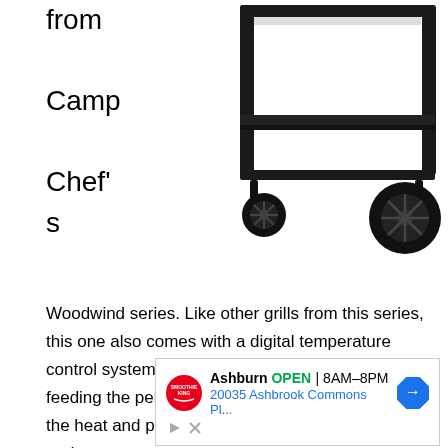from Camp Chef's
[Figure (photo): Camp Chef Woodwind series pellet grill on wheels, black metal frame, shown from side angle]
Woodwind series. Like other grills from this series, this one also comes with a digital temperature control system and an auto auger responsible for feeding the pellets to the grill. This will help sustain the heat and produce more smoke. Just set the grill and go.
[Figure (screenshot): Advertisement for Smoothie King in Ashburn, OPEN 8AM-8PM, 20035 Ashbrook Commons Pl...]